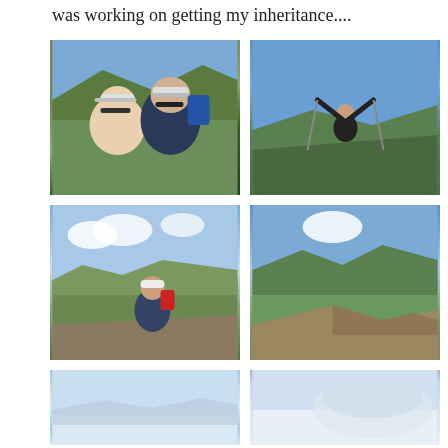was working on getting my inheritance....
[Figure (photo): Two hikers taking a selfie outdoors on a mountain, both wearing caps and sunglasses, green mountain landscape behind them]
[Figure (photo): Person standing with arms raised holding hiking poles at a mountain summit, panoramic valley view in background]
[Figure (photo): Hiker with backpack and cap standing on rocky mountain terrain with blue sky and clouds, valley in background]
[Figure (photo): Mountain landscape view showing ridge and valley with blue sky and scattered clouds]
[Figure (photo): Partial view of mountain landscape, misty or cloudy panorama]
[Figure (photo): Close-up partial view, possibly hat or gear with misty background]